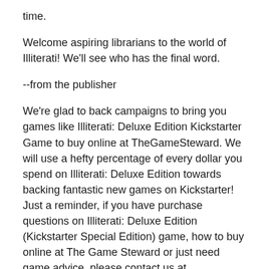time.
Welcome aspiring librarians to the world of Illiterati! We'll see who has the final word.
--from the publisher
We're glad to back campaigns to bring you games like Illiterati: Deluxe Edition Kickstarter Game to buy online at TheGameSteward. We will use a hefty percentage of every dollar you spend on Illiterati: Deluxe Edition towards backing fantastic new games on Kickstarter! Just a reminder, if you have purchase questions on Illiterati: Deluxe Edition (Kickstarter Special Edition) game, how to buy online at The Game Steward or just need game advice, please contact us at customerservice@thegamesteward.com.